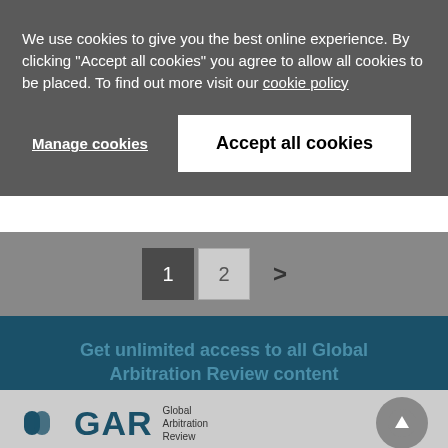We use cookies to give you the best online experience. By clicking "Accept all cookies" you agree to allow all cookies to be placed. To find out more visit our cookie policy
Manage cookies
Accept all cookies
1  2  >
Get unlimited access to all Global Arbitration Review content
Subscribe Now
[Figure (logo): GAR Global Arbitration Review logo with teal icon and text]